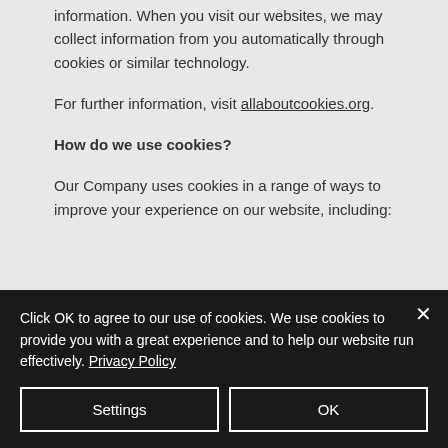information. When you visit our websites, we may collect information from you automatically through cookies or similar technology.
For further information, visit allaboutcookies.org.
How do we use cookies?
Our Company uses cookies in a range of ways to improve your experience on our website, including:
Click OK to agree to our use of cookies. We use cookies to provide you with a great experience and to help our website run effectively. Privacy Policy